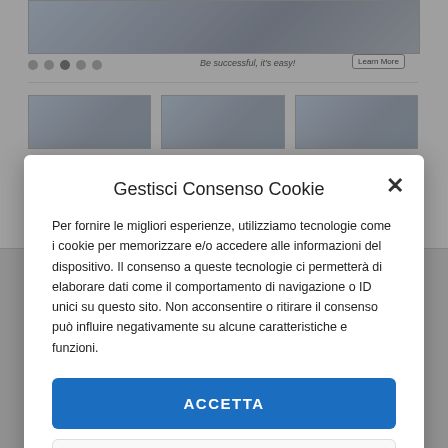[Figure (screenshot): Background website preview showing a banner image at top, navigation dots, a tagline 'Be successful, it's easy!' with a 'Learn More' button, a horizontal divider, and three thumbnail images in a row.]
Gestisci Consenso Cookie
Per fornire le migliori esperienze, utilizziamo tecnologie come i cookie per memorizzare e/o accedere alle informazioni del dispositivo. Il consenso a queste tecnologie ci permetterà di elaborare dati come il comportamento di navigazione o ID unici su questo sito. Non acconsentire o ritirare il consenso può influire negativamente su alcune caratteristiche e funzioni.
ACCETTA
NEGA
VISUALIZZA LE PREFERENZE